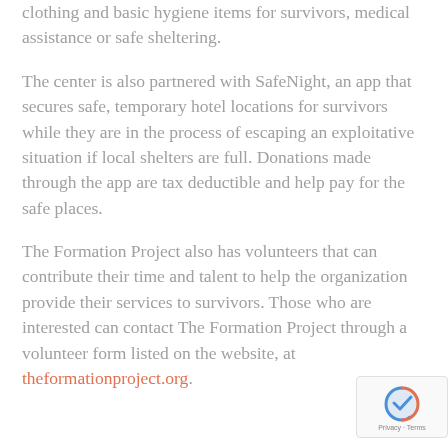clothing and basic hygiene items for survivors, medical assistance or safe sheltering.
The center is also partnered with SafeNight, an app that secures safe, temporary hotel locations for survivors while they are in the process of escaping an exploitative situation if local shelters are full. Donations made through the app are tax deductible and help pay for the safe places.
The Formation Project also has volunteers that can contribute their time and talent to help the organization provide their services to survivors. Those who are interested can contact The Formation Project through a volunteer form listed on the website, at theformationproject.org.